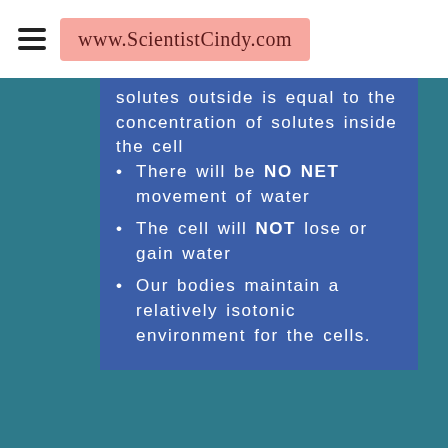www.ScientistCindy.com
solutes outside is equal to the concentration of solutes inside the cell
There will be NO NET movement of water
The cell will NOT lose or gain water
Our bodies maintain a relatively isotonic environment for the cells.
[Figure (illustration): Illustration of a cylindrical container (like a petri dish or cell container), shown in partial view at the bottom of the page]